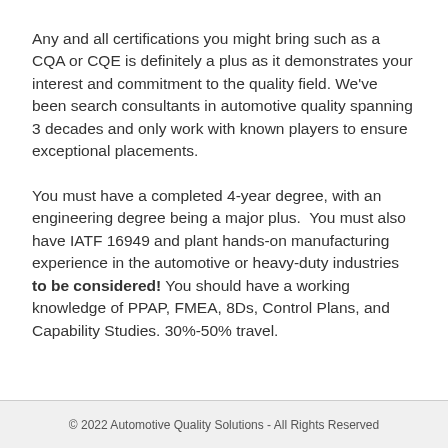Any and all certifications you might bring such as a CQA or CQE is definitely a plus as it demonstrates your interest and commitment to the quality field. We've been search consultants in automotive quality spanning 3 decades and only work with known players to ensure exceptional placements.
You must have a completed 4-year degree, with an engineering degree being a major plus.  You must also have IATF 16949 and plant hands-on manufacturing experience in the automotive or heavy-duty industries to be considered! You should have a working knowledge of PPAP, FMEA, 8Ds, Control Plans, and Capability Studies. 30%-50% travel.
© 2022 Automotive Quality Solutions - All Rights Reserved